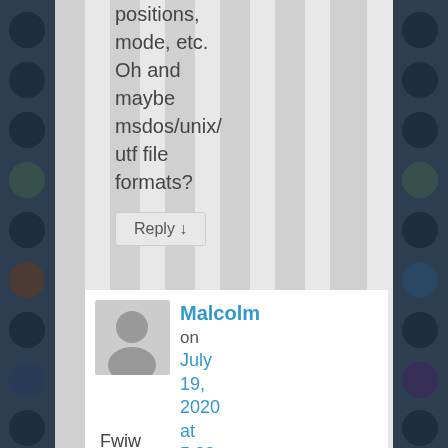positions, mode, etc. Oh and maybe msdos/unix/utf file formats?
Reply ↓
Malcolm on July 19, 2020 at 5:38 am said:
Fwiw